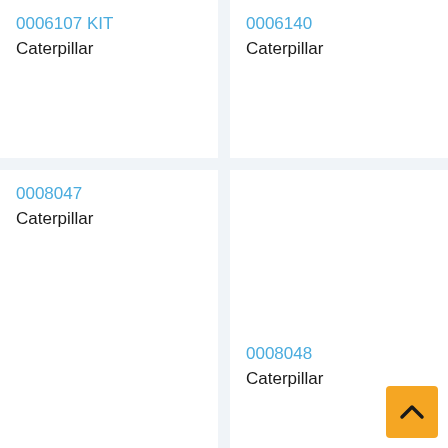0006107 KIT
Caterpillar
0006140
Caterpillar
0008047
Caterpillar
0008048
Caterpillar